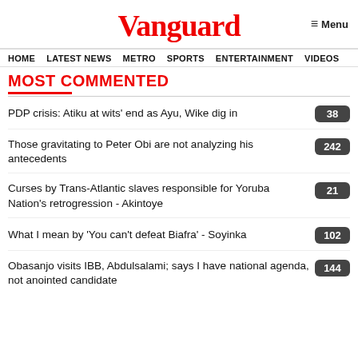Vanguard
Menu
HOME  LATEST NEWS  METRO  SPORTS  ENTERTAINMENT  VIDEOS
MOST COMMENTED
PDP crisis: Atiku at wits' end as Ayu, Wike dig in  38
Those gravitating to Peter Obi are not analyzing his antecedents  242
Curses by Trans-Atlantic slaves responsible for Yoruba Nation's retrogression - Akintoye  21
What I mean by 'You can't defeat Biafra' - Soyinka  102
Obasanjo visits IBB, Abdulsalami; says I have national agenda, not anointed candidate  144